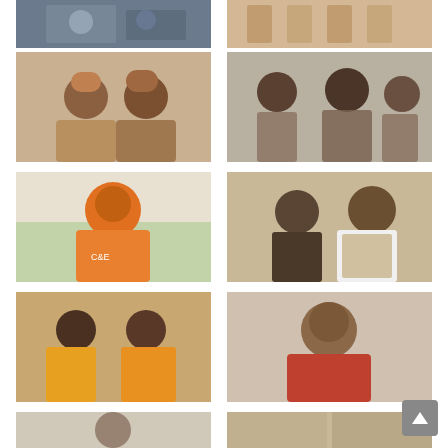[Figure (photo): Two people sitting together indoors]
[Figure (photo): Group of people standing, lower bodies visible]
[Figure (photo): Two men wearing traditional Nigerian hats sitting together]
[Figure (photo): Three people posing together holding a framed picture]
[Figure (photo): Man in orange shirt smiling outdoors near a car]
[Figure (photo): Man and woman posing together in stylish attire]
[Figure (photo): Two women in yellow and orange outfits posing together]
[Figure (photo): Young man in red jacket close-up portrait]
[Figure (photo): Young man portrait close-up]
[Figure (photo): Two women with headbands in a split frame photo]